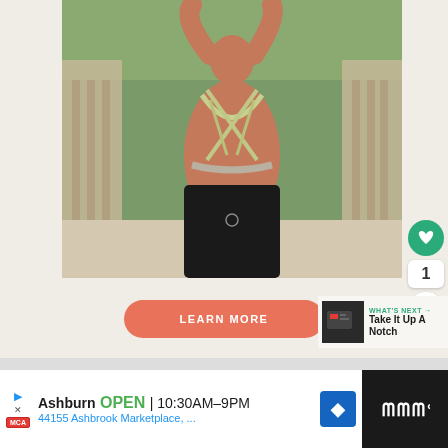[Figure (photo): Woman photographed from behind showing a strappy sports bra with cross-back design, standing on a wooden bridge with greenery in background, wearing black athletic pants]
1
LEARN MORE
WHAT'S NEXT → Take It Up A Notch
Ashburn OPEN 10:30AM–9PM 44155 Ashbrook Marketplace, ...